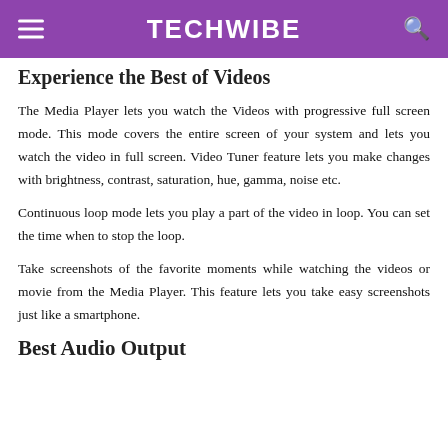TECHWIBE
Experience the Best of Videos
The Media Player lets you watch the Videos with progressive full screen mode. This mode covers the entire screen of your system and lets you watch the video in full screen. Video Tuner feature lets you make changes with brightness, contrast, saturation, hue, gamma, noise etc.
Continuous loop mode lets you play a part of the video in loop. You can set the time when to stop the loop.
Take screenshots of the favorite moments while watching the videos or movie from the Media Player. This feature lets you take easy screenshots just like a smartphone.
Best Audio Output